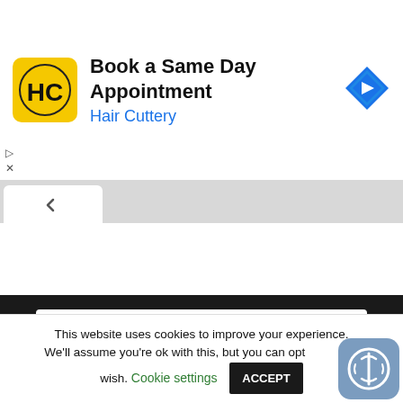[Figure (screenshot): Hair Cuttery ad banner with yellow logo showing 'HC', title 'Book a Same Day Appointment', subtitle 'Hair Cuttery' in blue, and a blue navigation arrow icon on the right.]
Book a Same Day Appointment
Hair Cuttery
[Figure (screenshot): Website search interface with dark nav bar, white search input reading 'Search the site', and a red Search button.]
This website uses cookies to improve your experience. We'll assume you're ok with this, but you can opt-out if you wish.
Cookie settings
ACCEPT